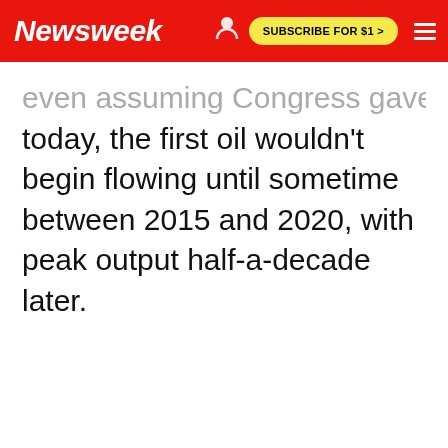Newsweek | SUBSCRIBE FOR $1 >
even assuming Congress gave the go-ahead today, the first oil wouldn't begin flowing until sometime between 2015 and 2020, with peak output half-a-decade later.